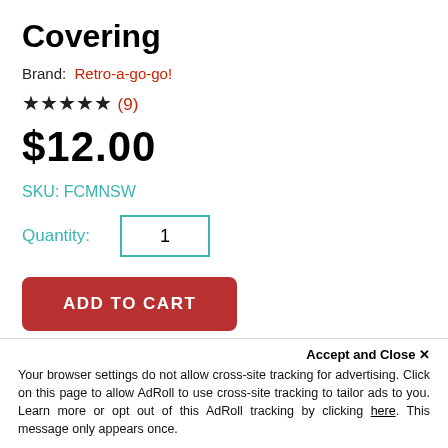Covering
Brand: Retro-a-go-go!
★★★★★ (9)
$12.00
SKU: FCMNSW
Quantity: 1
ADD TO CART
add to your wish list
Accept and Close ✕
Your browser settings do not allow cross-site tracking for advertising. Click on this page to allow AdRoll to use cross-site tracking to tailor ads to you. Learn more or opt out of this AdRoll tracking by clicking here. This message only appears once.